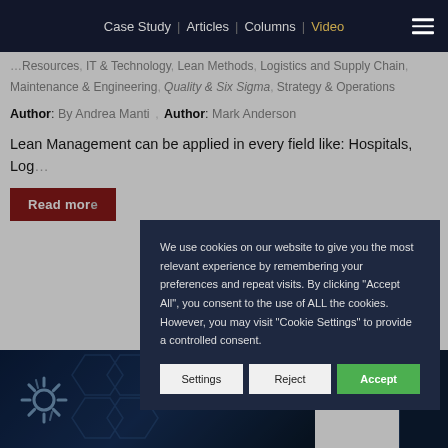Case Study | Articles | Columns | Video
Resources, IT & Technology, Lean Methods, Logistics and Supply Chain, Maintenance & Engineering, Quality & Six Sigma, Strategy & Operations
Author: By Andrea Manti , Author: Mark Anderson
Lean Management can be applied in every field like: Hospitals, Log...
We use cookies on our website to give you the most relevant experience by remembering your preferences and repeat visits. By clicking "Accept All", you consent to the use of ALL the cookies. However, you may visit "Cookie Settings" to provide a controlled consent.
[Figure (screenshot): Technology-themed image with hexagonal pattern and AI-related icons on dark blue background]
Settings  Reject  Accept